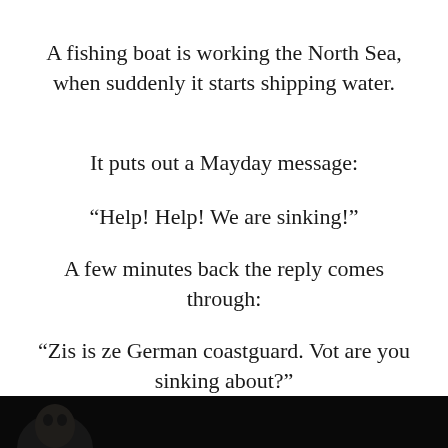A fishing boat is working the North Sea, when suddenly it starts shipping water.
It puts out a Mayday message:
“Help! Help! We are sinking!”
A few minutes back the reply comes through:
“Zis is ze German coastguard. Vot are you sinking about?”
[Figure (photo): Dark strip at bottom of page showing a partial face photograph]